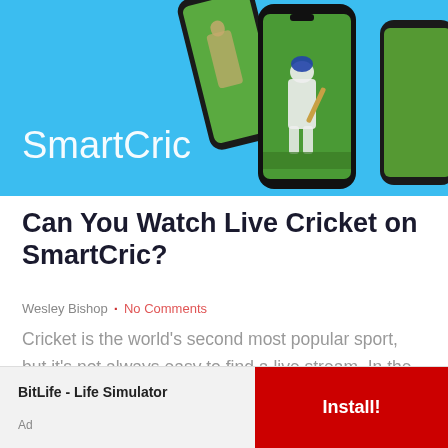[Figure (illustration): SmartCric app promotional banner showing smartphone mockups with cricket players on green field, on a sky blue background, with 'SmartCric' text in white]
Can You Watch Live Cricket on SmartCric?
Wesley Bishop · No Comments
Cricket is the world's second most popular sport, but it's not always easy to find a live stream. In the past, SmartCric was one option for cricket fans to watch free
[Figure (screenshot): Ad banner: BitLife - Life Simulator with red Install! button]